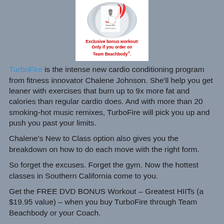[Figure (photo): DVD product image with red ribbon/figure graphic and white background, showing a fitness DVD for TurboFire with bonus workout text in red.]
TurboFire is the intense new cardio conditioning program from fitness innovator Chalene Johnson. She'll help you get leaner with exercises that burn up to 9x more fat and calories than regular cardio does. And with more than 20 smoking-hot music remixes, TurboFire will pick you up and push you past your limits.
Chalene's New to Class option also gives you the breakdown on how to do each move with the right form.
So forget the excuses. Forget the gym. Now the hottest classes in Southern California come to you.
Get the FREE DVD BONUS Workout – Greatest HIITs (a $19.95 value) – when you buy TurboFire through Team Beachbody or your Coach.